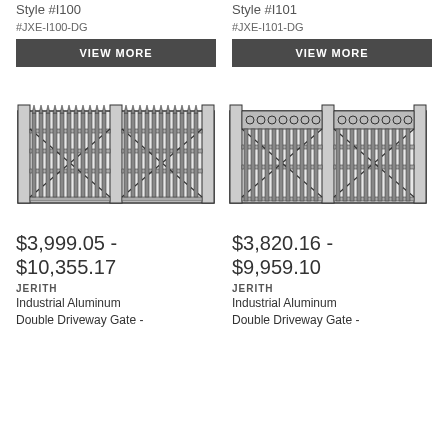Style #I100
Style #I101
#JXE-I100-DG
#JXE-I101-DG
VIEW MORE
VIEW MORE
[Figure (illustration): Industrial aluminum double driveway gate with spear-top pickets and diagonal bracing, Style I100]
[Figure (illustration): Industrial aluminum double driveway gate with decorative circles and diagonal bracing, Style I101]
$3,999.05 - $10,355.17
$3,820.16 - $9,959.10
JERITH
JERITH
Industrial Aluminum Double Driveway Gate -
Industrial Aluminum Double Driveway Gate -